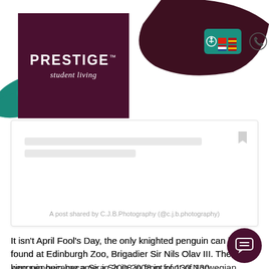[Figure (logo): Prestige Student Living logo — white text on dark maroon/purple square background with teal brush stroke]
[Figure (screenshot): Embedded social media post card with placeholder grey bars and caption: A post shared by C.J.B.Photography (@c.j.b.photography)]
A post shared by C.J.B.Photography (@c.j.b.photography)
It isn't April Fool's Day, the only knighted penguin can be found at Edinburgh Zoo, Brigadier Sir Nils Olav III. The king penguin became a Sir in 2008 in front of 130 Norwegian Army guardsmen. The King of Norway approved the knighthood, and the penguin remains mascot and colonel-in-chief of the Norway's King's Guard!